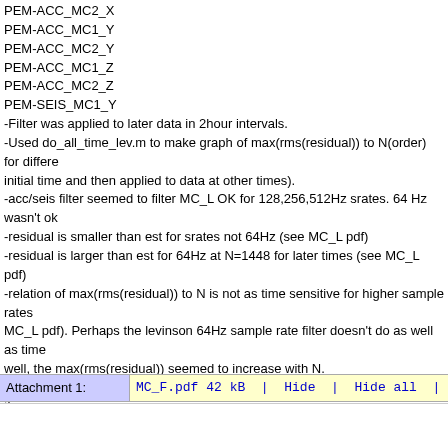PEM-ACC_MC2_X
PEM-ACC_MC1_Y
PEM-ACC_MC2_Y
PEM-ACC_MC1_Z
PEM-ACC_MC2_Z
PEM-SEIS_MC1_Y
-Filter was applied to later data in 2hour intervals.
-Used do_all_time_lev.m to make graph of max(rms(residual)) to N(order) for different initial time and then applied to data at other times).
-acc/seis filter seemed to filter MC_L OK for 128,256,512Hz srates. 64 Hz wasn't ok
-residual is smaller than est for srates not 64Hz (see MC_L pdf)
-residual is larger than est for 64Hz at N=1448 for later times (see MC_L pdf)
-relation of max(rms(residual)) to N is not as time sensitive for higher sample rates (see MC_L pdf). Perhaps the levinson 64Hz sample rate filter doesn't do as well as time well, the max(rms(residual)) seemed to increase with N.
-For 512Hz sample rate filter the max(rms(residual)) decreased with time. If the max performance, it would mean that the 512Hz filter calculated at the initial time was pe Perhaps max(rms(residual)) isn't always great at indicating filter performance.
Programming notes
-I had to modify values in do_all_time_lev.m to get the program to loop over the sra
-do_all_time_lev.m is not as clean as do_all_lev.m
-for making the plots do_all_lev.m (which isn't really a procedure and is messy) has do_all_time_lev.m.
| Attachment 1: | MC_F.pdf 42 kB  |  Hide  |  Hide all  |  Sh |
| --- | --- |